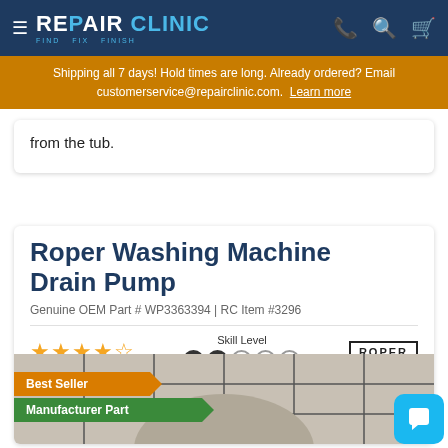[Figure (screenshot): RepairClinic navigation bar with logo, hamburger menu, phone, search, and cart icons]
Shipping all 7 days! Hold times are long. Already ordered? Email customerservice@repairclinic.com. Learn more
from the tub.
Roper Washing Machine Drain Pump
Genuine OEM Part # WP3363394 | RC Item #3296
[Figure (illustration): Star rating (4 stars), Skill Level icons (2 filled circles, 2 empty circles, help icon), Roper logo]
Best Seller
Manufacturer Part
[Figure (photo): Roper washing machine drain pump product photo on tiled background]